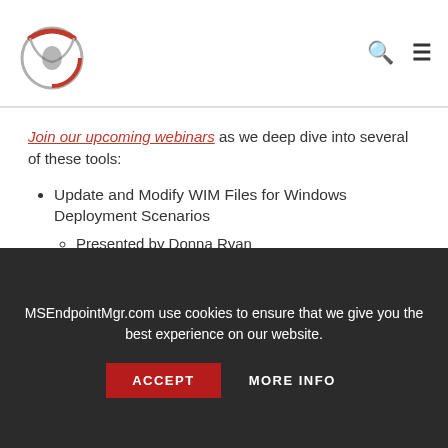MSEndpointMgr logo, search icon, menu icon
Join our upcoming webinars as we deep dive into several of these tools:
Update and Modify WIM Files for Windows Deployment Scenarios
Presented by Donna Ryan
OneVinn Tools, Improving End User Experiences in Task Sequences
Presented by Johan Schrewelius & Jörgen Nilsson
MSEndpointMgr.com use cookies to ensure that we give you the best experience on our website.